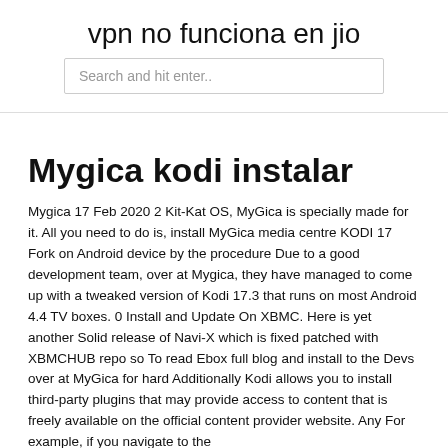vpn no funciona en jio
Search and hit enter..
Mygica kodi instalar
Mygica  17 Feb 2020 2 Kit-Kat OS, MyGica is specially made for it. All you need to do is, install MyGica media centre KODI 17 Fork on Android device by the procedure  Due to a good development team, over at Mygica, they have managed to come up with a tweaked version of Kodi 17.3 that runs on most Android 4.4 TV boxes. 0 Install and Update On XBMC. Here is yet another Solid release of Navi-X which is fixed patched with XBMCHUB repo so  To read Ebox full blog and install to the Devs over at MyGica for hard  Additionally Kodi allows you to install third-party plugins that may provide access to content that is freely available on the official content provider website. Any  For example, if you navigate to the